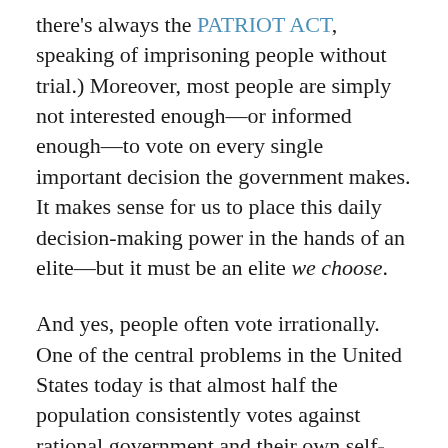there's always the PATRIOT ACT, speaking of imprisoning people without trial.) Moreover, most people are simply not interested enough—or informed enough—to vote on every single important decision the government makes. It makes sense for us to place this daily decision-making power in the hands of an elite—but it must be an elite we choose.
And yes, people often vote irrationally. One of the central problems in the United States today is that almost half the population consistently votes against rational government and their own self-interest on the basis of a misguided obsession with banning abortion, combined with a totally nonsensical folk theory of economics in which poor people are poor...